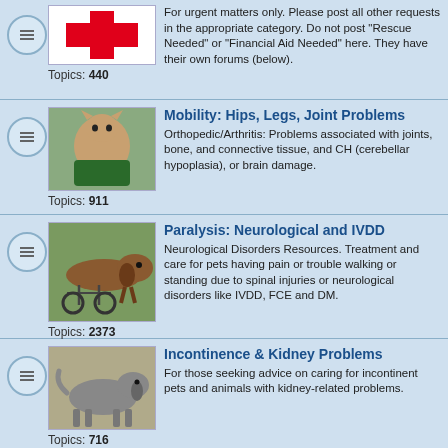For urgent matters only. Please post all other requests in the appropriate category. Do not post "Rescue Needed" or "Financial Aid Needed" here. They have their own forums (below). Topics: 440
Mobility: Hips, Legs, Joint Problems. Orthopedic/Arthritis: Problems associated with joints, bone, and connective tissue, and CH (cerebellar hypoplasia), or brain damage. Topics: 911
Paralysis: Neurological and IVDD. Neurological Disorders Resources. Treatment and care for pets having pain or trouble walking or standing due to spinal injuries or neurological disorders like IVDD, FCE and DM. Topics: 2373
Incontinence & Kidney Problems. For those seeking advice on caring for incontinent pets and animals with kidney-related problems. Topics: 716
Amputation. Please post questions about pets who are expected to undergo amputation or who have already undergone amputation here, as well as pets born with missing or incomplete limbs. Topics: 666
Walking Wheels, Pet Wheelchairs, Carts...